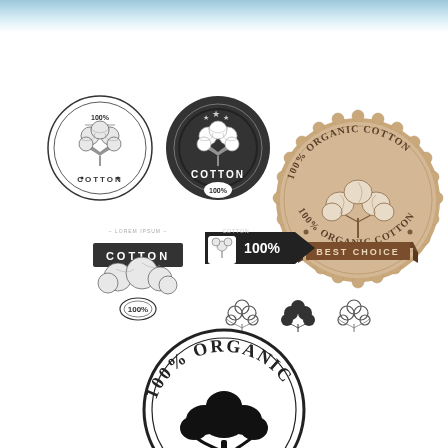[Figure (illustration): Collection of vintage-style cotton product labels and badges. Top left area shows multiple circular and tag-style black-and-white cotton badges with text 'COTTON' and '100%'. Top right shows a large scalloped-edge beige/tan circular badge reading '100% ORGANIC COTTON' with a cotton boll illustration and a ribbon banner reading 'BEST CHOICE'. Bottom center shows a large circular black-and-white badge reading '100% ORGANIC' with a cotton flower/boll illustration in silhouette.]